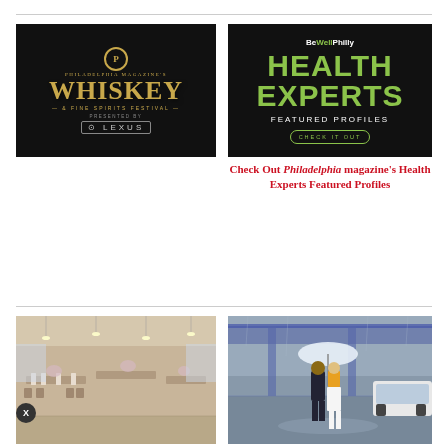[Figure (illustration): Black background advertisement for Philadelphia Magazine's Whiskey & Fine Spirits Festival, presented by Lexus. Gold/cream text with 'P' logo.]
[Figure (illustration): Black background advertisement for BeWellPhilly Health Experts Featured Profiles with green text and 'Check It Out' button.]
SPONSOR CONTENT
Philadelphia magazine's Whiskey & Fine Spirits Festival
Check Out Philadelphia magazine's Health Experts Featured Profiles
[Figure (photo): Interior photo of a wedding venue with long dining tables, white floral centerpieces, pendant lights, large windows.]
[Figure (photo): Couple walking on a rainy urban street under a clear umbrella. Man in dark suit, woman in white dress with yellow jacket.]